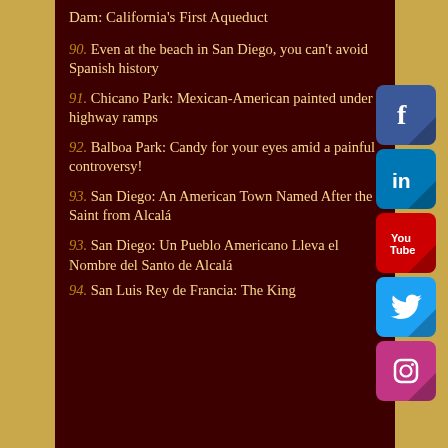Dam: California's First Aqueduct
90. Even at the beach in San Diego, you can't avoid Spanish history
91. Chicano Park: Mexican-American painted under highway ramps
92. Balboa Park: Candy for your eyes amid a painful controversy!
93. San Diego: An American Town Named After the Saint from Alcalá
93. San Diego: Un Pueblo Americano Lleva el Nombre del Santo de Alcalá
94. San Luis Rey de Francia: The King